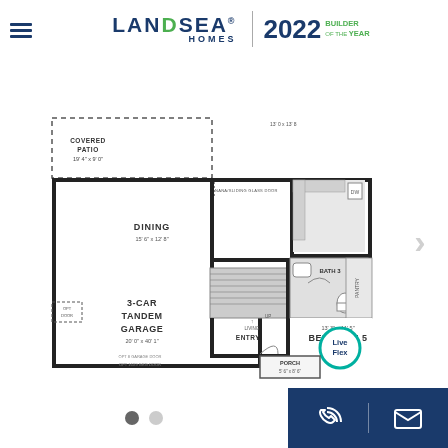[Figure (logo): Landsea Homes logo with 2022 Builder of the Year badge]
[Figure (engineering-diagram): First floor plan showing: Covered Patio 19'4" x 9'0", Dining 15'6" x 12'8", Kitchen, Bedroom 5 13'3" x 11'5", Bath 3, Pantry, Entry, Porch 5'6" x 8'6", 3-Car Tandem Garage 20'0" x 40'1", stairs, and Live Flex badge]
FIRST FLOOR
Navigation dots and contact icons